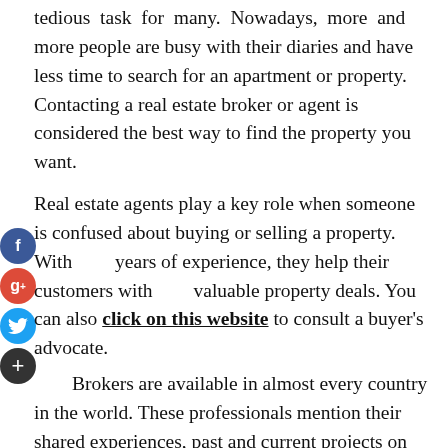tedious task for many. Nowadays, more and more people are busy with their diaries and have less time to search for an apartment or property. Contacting a real estate broker or agent is considered the best way to find the property you want.
Real estate agents play a key role when someone is confused about buying or selling a property. With years of experience, they help their customers with valuable property deals. You can also click on this website to consult a buyer's advocate.
Brokers are available in almost every country in the world. These professionals mention their shared experiences, past and current projects on their